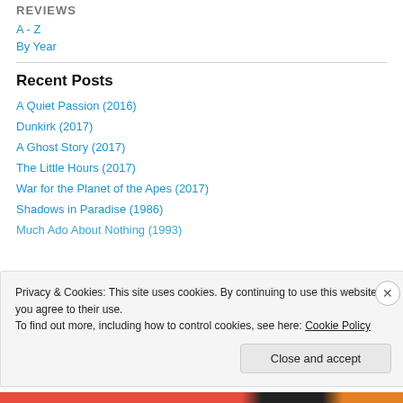REVIEWS
A - Z
By Year
Recent Posts
A Quiet Passion (2016)
Dunkirk (2017)
A Ghost Story (2017)
The Little Hours (2017)
War for the Planet of the Apes (2017)
Shadows in Paradise (1986)
Much Ado About Nothing (1993)
Privacy & Cookies: This site uses cookies. By continuing to use this website, you agree to their use. To find out more, including how to control cookies, see here: Cookie Policy
Close and accept